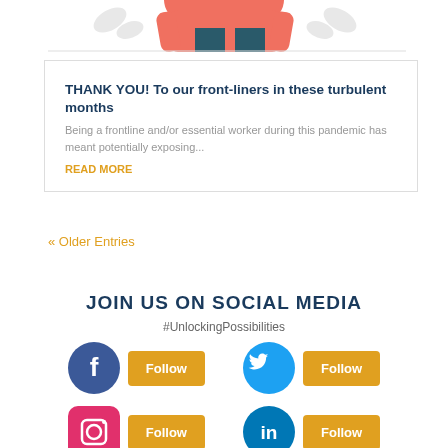[Figure (illustration): Partial view of illustrated frontline/essential workers figures at top of page]
THANK YOU! To our front-liners in these turbulent months
Being a frontline and/or essential worker during this pandemic has meant potentially exposing...
READ MORE
« Older Entries
JOIN US ON SOCIAL MEDIA
#UnlockingPossibilities
[Figure (logo): Facebook icon circle with Follow button]
[Figure (logo): Twitter icon circle with Follow button]
[Figure (logo): Instagram icon square with Follow button]
[Figure (logo): LinkedIn icon circle with Follow button]